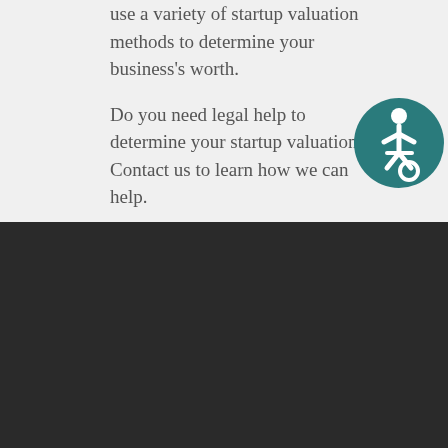use a variety of startup valuation methods to determine your business's worth.
Do you need legal help to determine your startup valuation? Contact us to learn how we can help.
[Figure (illustration): Accessibility icon: white wheelchair symbol on teal/dark cyan circular background]
[Figure (logo): Grellas Shah LLP logo: stylized GS monogram with text GRELLAS SHAH LLP in white on dark background]
We are a full-service boutique law firm. We bring a sophisticated, yet practical approach to representing our clients. Our specialty practice